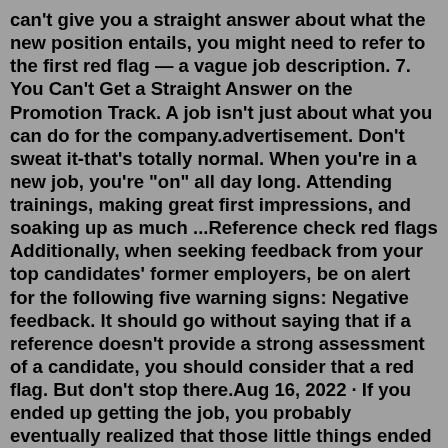can't give you a straight answer about what the new position entails, you might need to refer to the first red flag — a vague job description. 7. You Can't Get a Straight Answer on the Promotion Track. A job isn't just about what you can do for the company.advertisement. Don't sweat it-that's totally normal. When you're in a new job, you're "on" all day long. Attending trainings, making great first impressions, and soaking up as much ...Reference check red flags Additionally, when seeking feedback from your top candidates' former employers, be on alert for the following five warning signs: Negative feedback. It should go without saying that if a reference doesn't provide a strong assessment of a candidate, you should consider that a red flag. But don't stop there.Aug 16, 2022 · If you ended up getting the job, you probably eventually realized that those little things ended up turning into a big deal. Redditor u/SwagYoloThiccChilFam asked the internet about some of the biggest red flags to identify during a job interview and received hundreds of...